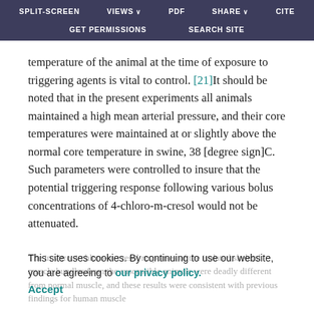SPLIT-SCREEN   VIEWS   PDF   SHARE   CITE   GET PERMISSIONS   SEARCH SITE
temperature of the animal at the time of exposure to triggering agents is vital to control. [21]It should be noted that in the present experiments all animals maintained a high mean arterial pressure, and their core temperatures were maintained at or slightly above the normal core temperature in swine, 38 [degree sign]C. Such parameters were controlled to insure that the potential triggering response following various bolus concentrations of 4-chloro-m-cresol would not be attenuated.
The in vitro 4-chloro-m-cresol responses of the isolated skeletal muscle bundles from the susceptible animals were deadly different from normal muscle, and these results were consistent with previous findings for human muscle
This site uses cookies. By continuing to use our website, you are agreeing to our privacy policy. Accept